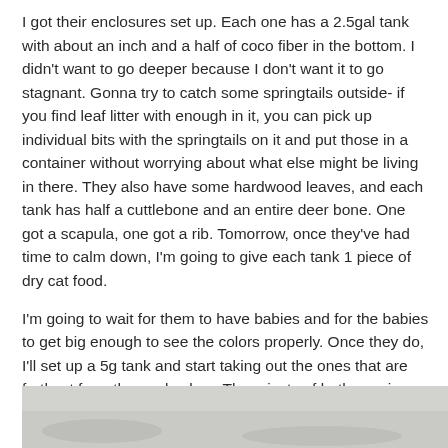I got their enclosures set up. Each one has a 2.5gal tank with about an inch and a half of coco fiber in the bottom. I didn't want to go deeper because I don't want it to go stagnant. Gonna try to catch some springtails outside- if you find leaf litter with enough in it, you can pick up individual bits with the springtails on it and put those in a container without worrying about what else might be living in there. They also have some hardwood leaves, and each tank has half a cuttlebone and an entire deer bone. One got a scapula, one got a rib. Tomorrow, once they've had time to calm down, I'm going to give each tank 1 piece of dry cat food.
I'm going to wait for them to have babies and for the babies to get big enough to see the colors properly. Once they do, I'll set up a 5g tank and start taking out the ones that are furthest from the goal colors. The rejects of both species go into the 5g to breed as they want, and if I see any brightly colored ones in the 5g, they go into their respective 2.5g. At first, I'll only be taking out the ones with a lot of gray, so I'll still have decent numbers (hopefully) in the breeding tanks. Don't want to thin it down to just 2 or 3 orange ones in the first generation.
[Figure (photo): Partially visible photograph at the bottom of the page, showing a light gray/beige surface, likely the interior of an animal enclosure or tank with substrate.]